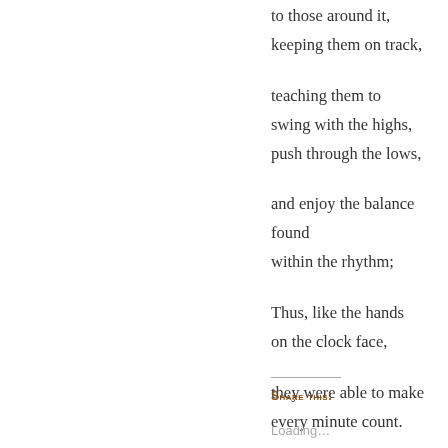to those around it,
keeping them on track,

teaching them to
swing with the highs,
push through the lows,

and enjoy the balance found
within the rhythm;

Thus, like the hands
on the clock face,

they were able to make
every minute count.
Share this:
Loading...